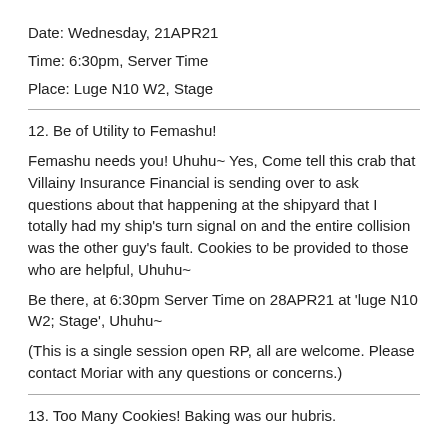Date: Wednesday, 21APR21
Time: 6:30pm, Server Time
Place: Luge N10 W2, Stage
12. Be of Utility to Femashu!
Femashu needs you! Uhuhu~ Yes, Come tell this crab that Villainy Insurance Financial is sending over to ask questions about that happening at the shipyard that I totally had my ship's turn signal on and the entire collision was the other guy's fault. Cookies to be provided to those who are helpful, Uhuhu~
Be there, at 6:30pm Server Time on 28APR21 at 'luge N10 W2; Stage', Uhuhu~
(This is a single session open RP, all are welcome. Please contact Moriar with any questions or concerns.)
13. Too Many Cookies! Baking was our hubris.